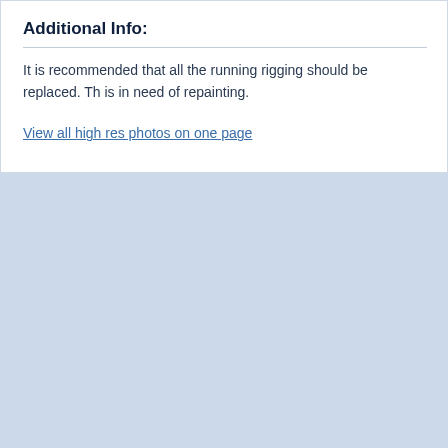Additional Info:
It is recommended that all the running rigging should be replaced. Th... is in need of repainting.
View all high res photos on one page